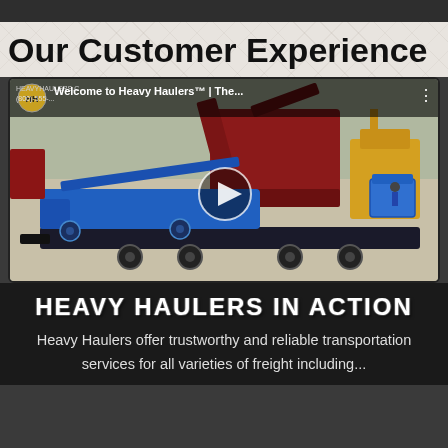Our Customer Experience
[Figure (screenshot): YouTube video thumbnail showing heavy equipment (blue boom lift on flatbed trailer, red crushing machine) being transported, with channel avatar, video title 'Welcome to Heavy Haulers™ | The...' and a play button overlay]
HEAVY HAULERS IN ACTION
Heavy Haulers offer trustworthy and reliable transportation services for all varieties of freight including...